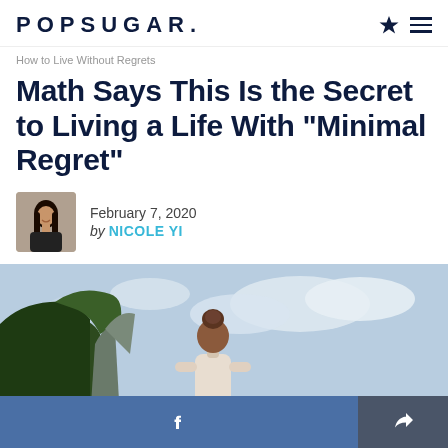POPSUGAR.
How to Live Without Regrets
Math Says This Is the Secret to Living a Life With "Minimal Regret"
February 7, 2020
by NICOLE YI
[Figure (photo): Person with hair in bun viewed from behind, standing before a cliff and cloudy sky landscape]
Facebook share button and general share button